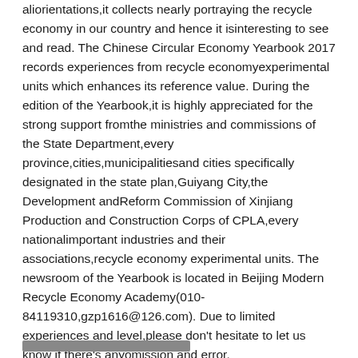aliorientations,it collects nearly portraying the recycle economy in our country and hence it isinteresting to see and read. The Chinese Circular Economy Yearbook 2017 records experiences from recycle economyexperimental units which enhances its reference value. During the edition of the Yearbook,it is highly appreciated for the strong support fromthe ministries and commissions of the State Department,every province,cities,municipalitiesand cities specifically designated in the state plan,Guiyang City,the Development andReform Commission of Xinjiang Production and Construction Corps of CPLA,every nationalimportant industries and their associations,recycle economy experimental units. The newsroom of the Yearbook is located in Beijing Modern Recycle Economy Academy(010-84119310,gzp1616@126.com). Due to limited experiences and level,please don't hesitate to let us know if there's anyomission and error.